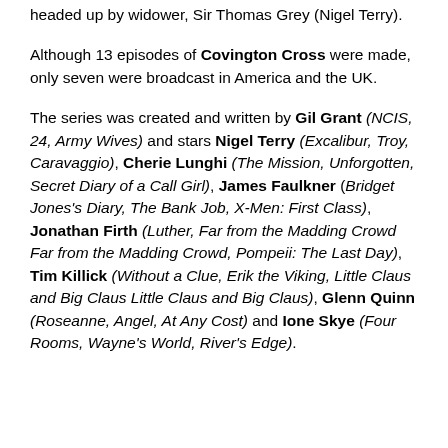headed up by widower, Sir Thomas Grey (Nigel Terry).
Although 13 episodes of Covington Cross were made, only seven were broadcast in America and the UK.
The series was created and written by Gil Grant (NCIS, 24, Army Wives) and stars Nigel Terry (Excalibur, Troy, Caravaggio), Cherie Lunghi (The Mission, Unforgotten, Secret Diary of a Call Girl), James Faulkner (Bridget Jones's Diary, The Bank Job, X-Men: First Class), Jonathan Firth (Luther, Far from the Madding Crowd Far from the Madding Crowd, Pompeii: The Last Day), Tim Killick (Without a Clue, Erik the Viking, Little Claus and Big Claus Little Claus and Big Claus), Glenn Quinn (Roseanne, Angel, At Any Cost) and Ione Skye (Four Rooms, Wayne's World, River's Edge).